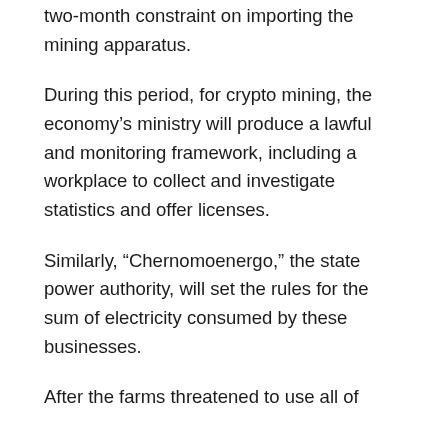two-month constraint on importing the mining apparatus.
During this period, for crypto mining, the economy’s ministry will produce a lawful and monitoring framework, including a workplace to collect and investigate statistics and offer licenses.
Similarly, “Chernomoenergo,” the state power authority, will set the rules for the sum of electricity consumed by these businesses.
After the farms threatened to use all of